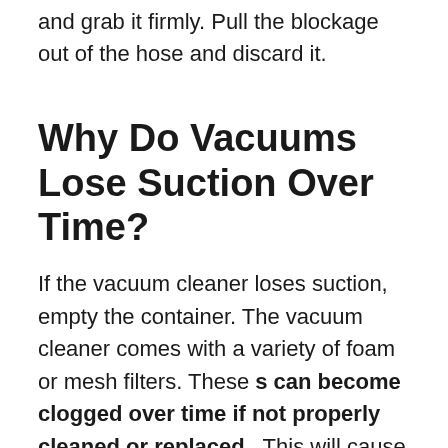and grab it firmly. Pull the blockage out of the hose and discard it.
Why Do Vacuums Lose Suction Over Time?
If the vacuum cleaner loses suction, empty the container. The vacuum cleaner comes with a variety of foam or mesh filters. These s can become clogged over time if not properly cleaned or replaced . This will cause the vacuum cleaner to lose its suction power.